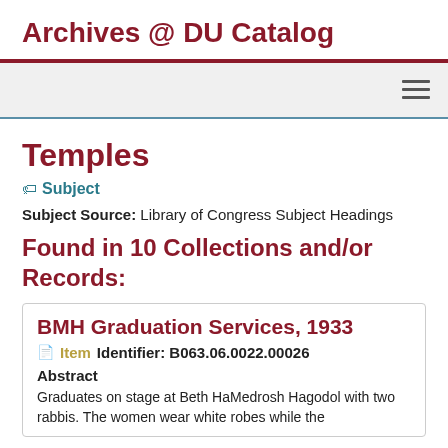Archives @ DU Catalog
Temples
Subject
Subject Source: Library of Congress Subject Headings
Found in 10 Collections and/or Records:
BMH Graduation Services, 1933
Item   Identifier: B063.06.0022.00026
Abstract
Graduates on stage at Beth HaMedrosh Hagodol with two rabbis. The women wear white robes while the